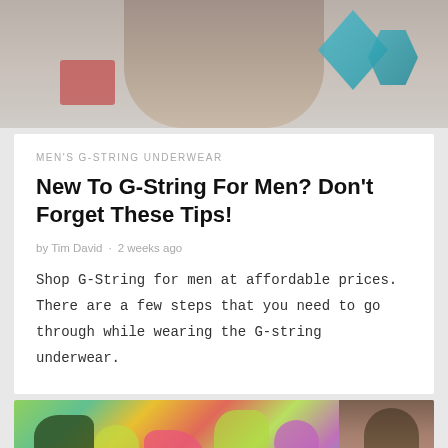[Figure (photo): Top portion of a person wearing underwear with decorative background elements including teal geometric shapes and colorful wall art]
MEN'S G-STRING UNDERWEAR
New To G-String For Men? Don't Forget These Tips!
by Tim David · 2 weeks ago
Shop G-String for men at affordable prices. There are a few steps that you need to go through while wearing the G-string underwear.
[Figure (photo): Man posing in front of colorful graffiti wall with tropical and pop art motifs]